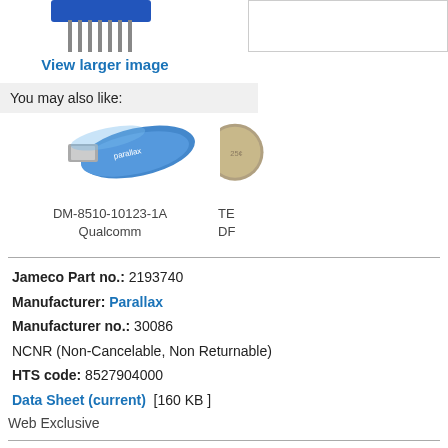[Figure (photo): Electronic module with pin headers (partial, top of page)]
[Figure (photo): Empty white box outline (right side, product image placeholder)]
View larger image
You may also like:
[Figure (photo): Blue USB flash drive - DM-8510-10123-1A Qualcomm]
[Figure (photo): Coin (quarter) partially visible - TE, DF]
DM-8510-10123-1A
Qualcomm
TE
DF
Jameco Part no.: 2193740
Manufacturer: Parallax
Manufacturer no.: 30086
NCNR (Non-Cancelable, Non Returnable)
HTS code: 8527904000
Data Sheet (current) [160 KB ]
Web Exclusive